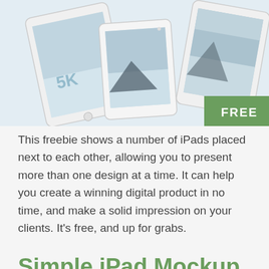[Figure (illustration): Multiple white iPad devices arranged at angles showing snowy mountain landscape wallpapers, with a green FREE badge in the bottom-right corner]
This freebie shows a number of iPads placed next to each other, allowing you to present more than one design at a time. It can help you create a winning digital product in no time, and make a solid impression on your clients. It’s free, and up for grabs.
Simple iPad Mockup Template